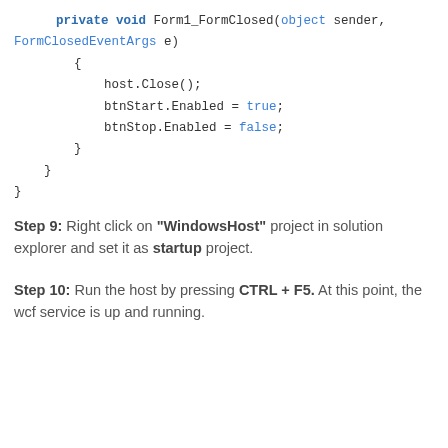private void Form1_FormClosed(object sender, FormClosedEventArgs e)
        {
            host.Close();
            btnStart.Enabled = true;
            btnStop.Enabled = false;
        }
    }
}
Step 9: Right click on "WindowsHost" project in solution explorer and set it as startup project.
Step 10: Run the host by pressing CTRL + F5. At this point, the wcf service is up and running.